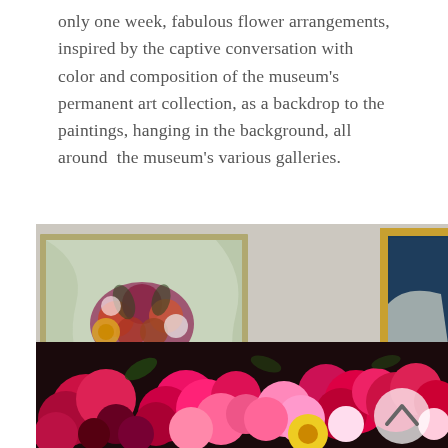only one week, fabulous flower arrangements, inspired by the captive conversation with color and composition of the museum's permanent art collection, as a backdrop to the paintings, hanging in the background, all around  the museum's various galleries.
[Figure (photo): Museum gallery scene showing a painting of a flower bouquet in a vase hanging on a grey wall with a gold-framed painting partially visible at right edge. In the foreground is a large vivid arrangement of deep pink, magenta, and red flowers (roses, peonies, ranunculus). A semi-transparent circular navigation arrow button is visible at lower right.]